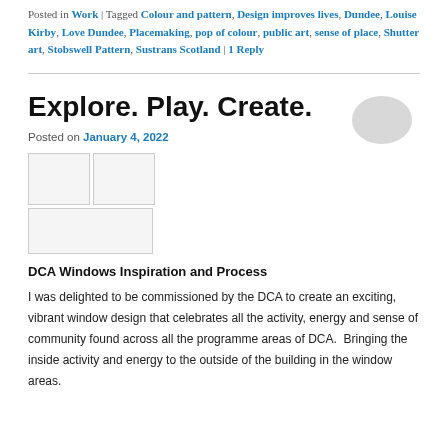Posted in Work | Tagged Colour and pattern, Design improves lives, Dundee, Louise Kirby, Love Dundee, Placemaking, pop of colour, public art, sense of place, Shutter art, Stobswell Pattern, Sustrans Scotland | 1 Reply
Explore. Play. Create.
Posted on January 4, 2022
[Figure (photo): Grid of placeholder images (two small squares on top row, one wide rectangle on bottom row)]
DCA Windows Inspiration and Process
I was delighted to be commissioned by the DCA to create an exciting, vibrant window design that celebrates all the activity, energy and sense of community found across all the programme areas of DCA.  Bringing the inside activity and energy to the outside of the building in the window areas.